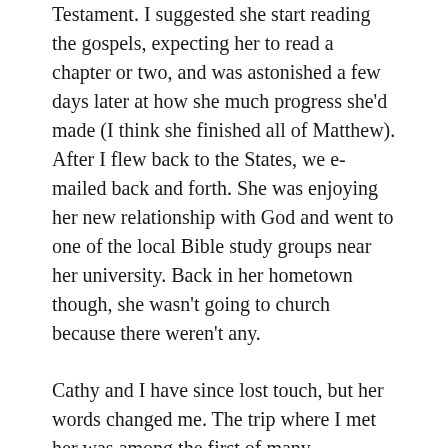Testament. I suggested she start reading the gospels, expecting her to read a chapter or two, and was astonished a few days later at how she much progress she'd made (I think she finished all of Matthew). After I flew back to the States, we e-mailed back and forth. She was enjoying her new relationship with God and went to one of the local Bible study groups near her university. Back in her hometown though, she wasn't going to church because there weren't any.
Cathy and I have since lost touch, but her words changed me. The trip where I met her was among the first of many subsequent missions trips to Central and East Asia. Overseas, I gained firsthand knowledge of the need for the gospel and for gospel-workers, and the immensity of this need wrecked me. As people eagerly received the good news, I didn't understand how I could not go. At one point, I